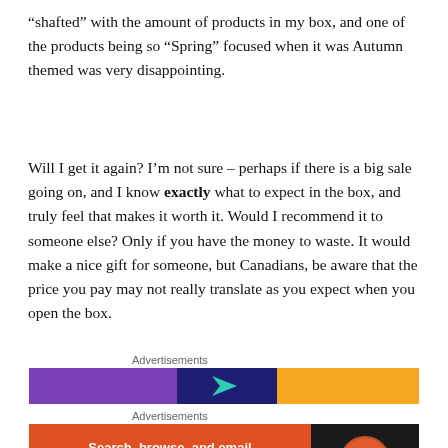“shafted” with the amount of products in my box, and one of the products being so “Spring” focused when it was Autumn themed was very disappointing.
Will I get it again? I’m not sure – perhaps if there is a big sale going on, and I know exactly what to expect in the box, and truly feel that makes it worth it. Would I recommend it to someone else? Only if you have the money to waste. It would make a nice gift for someone, but Canadians, be aware that the price you pay may not really translate as you expect when you open the box.
[Figure (screenshot): Two advertisement banners. First is a colorful horizontal banner with purple, dark blue, teal arrow, and orange sections. Second is a DuckDuckGo ad with orange/red background on the left saying 'Search, browse, and email with more privacy. All in One Free App' and a dark right side with the DuckDuckGo logo.]